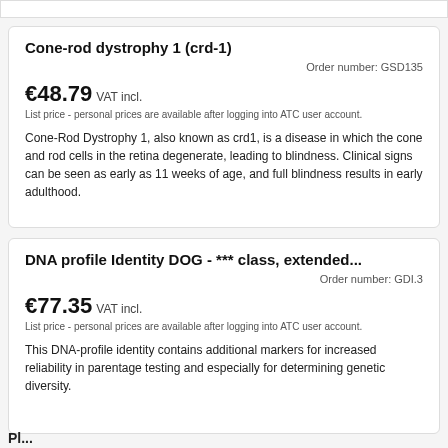Cone-rod dystrophy 1 (crd-1)
Order number: GSD135
€48.79 VAT incl.
List price - personal prices are available after logging into ATC user account.
Cone-Rod Dystrophy 1, also known as crd1, is a disease in which the cone and rod cells in the retina degenerate, leading to blindness. Clinical signs can be seen as early as 11 weeks of age, and full blindness results in early adulthood.
DNA profile Identity DOG - *** class, extended...
Order number: GDI.3
€77.35 VAT incl.
List price - personal prices are available after logging into ATC user account.
This DNA-profile identity contains additional markers for increased reliability in parentage testing and especially for determining genetic diversity.
Pl...